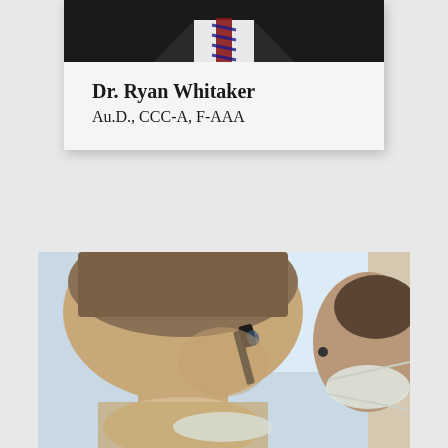[Figure (photo): Profile card showing a man in a suit with a striped tie, cropped at chest level]
Dr. Ryan Whitaker
Au.D., CCC-A, F-AAA
[Figure (photo): A medical professional wearing a mask using an otoscope to examine a patient's ear, both wearing masks]